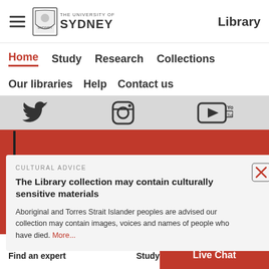The University of Sydney | Library
Home   Study   Research   Collections
Our libraries   Help   Contact us
[Figure (screenshot): Social media icons: Twitter bird, Instagram camera, YouTube logo on grey bar]
CULTURAL ADVICE
The Library collection may contain culturally sensitive materials
Aboriginal and Torres Strait Islander peoples are advised our collection may contain images, voices and names of people who have died. More...
arts here
links
News
Find an expert
Log in t...
Study c...
Live Chat